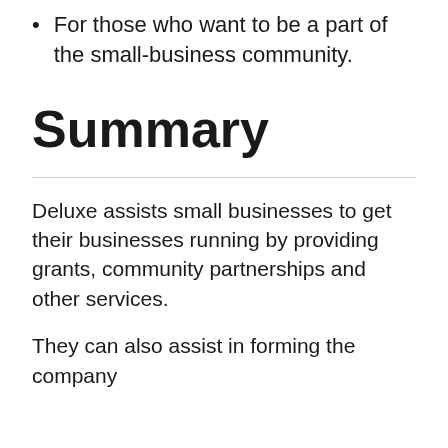For those who want to be a part of the small-business community.
Summary
Deluxe assists small businesses to get their businesses running by providing grants, community partnerships and other services.
They can also assist in forming the company